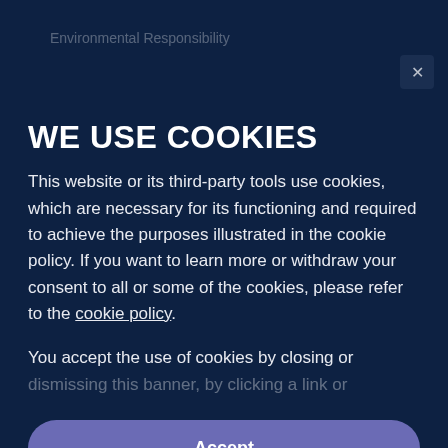Environmental Responsibility
Fundamental Behaviours
WE USE COOKIES
This website or its third-party tools use cookies, which are necessary for its functioning and required to achieve the purposes illustrated in the cookie policy. If you want to learn more or withdraw your consent to all or some of the cookies, please refer to the cookie policy.
You accept the use of cookies by closing or dismissing this banner, by clicking a link or
Accept
Learn More